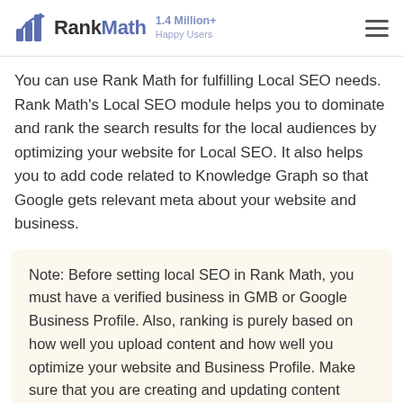RankMath — 1.4 Million+ Happy Users
You can use Rank Math for fulfilling Local SEO needs. Rank Math's Local SEO module helps you to dominate and rank the search results for the local audiences by optimizing your website for Local SEO. It also helps you to add code related to Knowledge Graph so that Google gets relevant meta about your website and business.
Note: Before setting local SEO in Rank Math, you must have a verified business in GMB or Google Business Profile. Also, ranking is purely based on how well you upload content and how well you optimize your website and Business Profile. Make sure that you are creating and updating content using relevant keywords that are optimized for local search results. Get positive